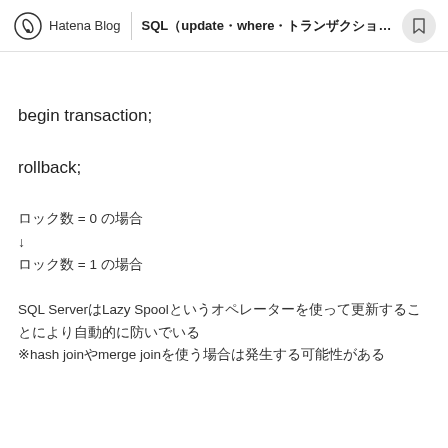Hatena Blog | SQL（update・where・トランザクション）
begin transaction;
rollback;
ロック数 = 0 の場合
↓
ロック数 = 1 の場合
SQL ServerはLazy Spoolというオペレーターを使って更新することにより自動的に防いでいる
※hash joinやmerge joinを使う場合は発生する可能性がある